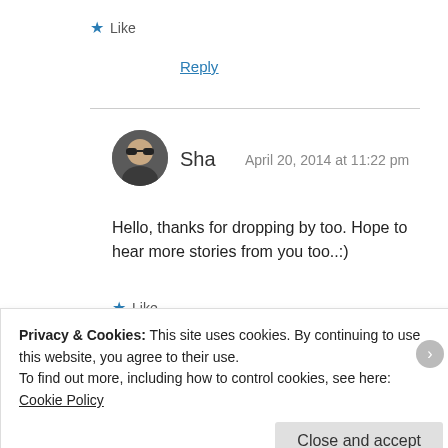★ Like
Reply
Sha  April 20, 2014 at 11:22 pm
Hello, thanks for dropping by too. Hope to hear more stories from you too..:)
★ Like
Reply
Privacy & Cookies: This site uses cookies. By continuing to use this website, you agree to their use.
To find out more, including how to control cookies, see here:
Cookie Policy
Close and accept